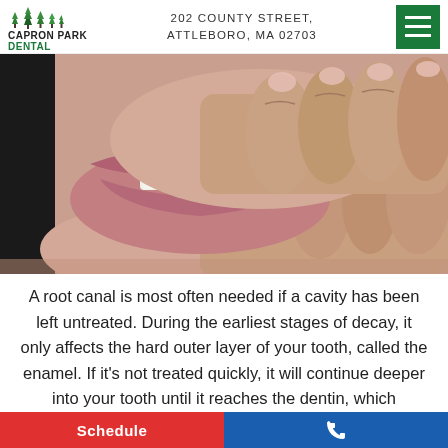CAPRON PARK DENTAL — 202 COUNTY STREET, ATTLEBORO, MA 02703
[Figure (photo): Close-up photo of a woman touching her cheek/jaw with her hand, showing teeth, suggesting dental pain or discomfort.]
A root canal is most often needed if a cavity has been left untreated. During the earliest stages of decay, it only affects the hard outer layer of your tooth, called the enamel. If it's not treated quickly, it will continue deeper into your tooth until it reaches the dentin, which contains tiny of small
Schedule | [phone icon]